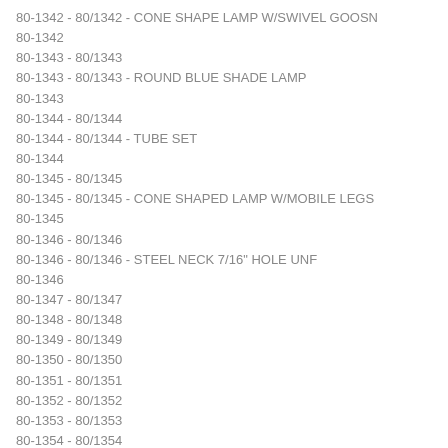80-1342 - 80/1342 - CONE SHAPE LAMP W/SWIVEL GOOSN
80-1342
80-1343 - 80/1343
80-1343 - 80/1343 - ROUND BLUE SHADE LAMP
80-1343
80-1344 - 80/1344
80-1344 - 80/1344 - TUBE SET
80-1344
80-1345 - 80/1345
80-1345 - 80/1345 - CONE SHAPED LAMP W/MOBILE LEGS
80-1345
80-1346 - 80/1346
80-1346 - 80/1346 - STEEL NECK 7/16" HOLE UNF
80-1346
80-1347 - 80/1347
80-1348 - 80/1348
80-1349 - 80/1349
80-1350 - 80/1350
80-1351 - 80/1351
80-1352 - 80/1352
80-1353 - 80/1353
80-1354 - 80/1354
80-1354 - 80/1354 - POR CAND SKT 30" LEADS
80-1354